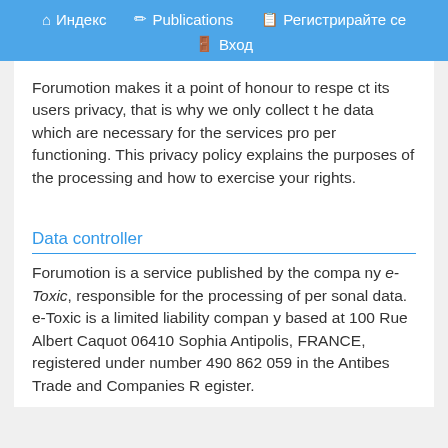Индекс   Publications   Регистрирайте се   Вход
Forumotion makes it a point of honour to respect its users privacy, that is why we only collect the data which are necessary for the services proper functioning. This privacy policy explains the purposes of the processing and how to exercise your rights.
Data controller
Forumotion is a service published by the company e-Toxic, responsible for the processing of personal data. e-Toxic is a limited liability company based at 100 Rue Albert Caquot 06410 Sophia Antipolis, FRANCE, registered under number 490 862 059 in the Antibes Trade and Companies Register.